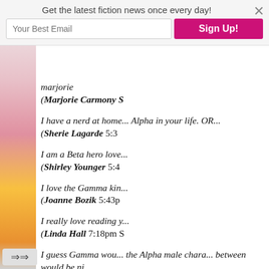Get the latest fiction news once every day!
marjorie
(Marjorie Carmony S
I have a nerd at home... Alpha in your life. OR...
(Sherie Lagarde 5:3
I am a Beta hero love...
(Shirley Younger 5:4
I love the Gamma kin...
(Joanne Bozik 5:43p
I really love reading y...
(Linda Hall 7:18pm S
I guess Gamma wou... the Alpha male chara... between would be ni...